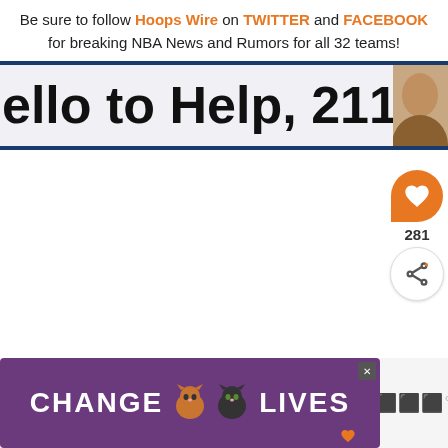Be sure to follow Hoops Wire on TWITTER and FACEBOOK for breaking NBA News and Rumors for all 32 teams!
ello to Help, 211 is Here
[Figure (photo): Partial photo of a person visible at the right edge of the headline banner]
[Figure (infographic): Like/heart widget showing 281 likes and a share button on the right side of the page]
[Figure (photo): Advertisement banner with purple background showing cat photos and text CHANGE LIVES with a close button]